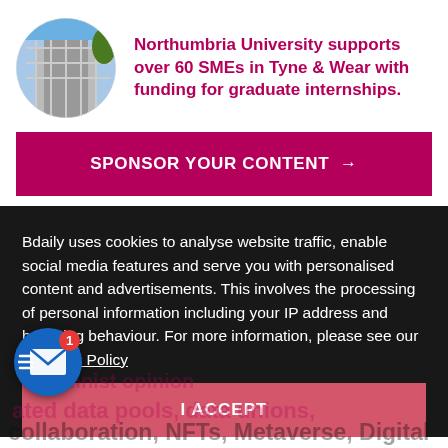[Figure (photo): Circular profile image of a building with scaffolding and construction, set against a blue sky]
Northumbria University supports over 60 SMEs in Tyne & Wear with funding for graduate internships.
SPONSOR YOUR CONTENT →
Bdaily uses cookies to analyse website traffic, enable social media features and serve you with personalised content and advertisements. This involves the processing of personal information including your IP address and browsing behaviour. For more information, please see our Cookies Policy
I ACCEPT